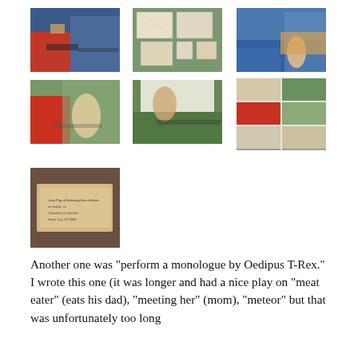[Figure (photo): Grid of 7 photographs showing children and adults near cars, papers pinned to a tree, and an envelope on a wooden surface]
Another one was "perform a monologue by Oedipus T-Rex." I wrote this one (it was longer and had a nice play on "meat eater" (eats his dad), "meeting her" (mom), "meteor" but that was unfortunately too long